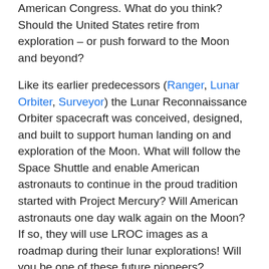American Congress. What do you think? Should the United States retire from exploration – or push forward to the Moon and beyond?
Like its earlier predecessors (Ranger, Lunar Orbiter, Surveyor) the Lunar Reconnaissance Orbiter spacecraft was conceived, designed, and built to support human landing on and exploration of the Moon. What will follow the Space Shuttle and enable American astronauts to continue in the proud tradition started with Project Mercury? Will American astronauts one day walk again on the Moon? If so, they will use LROC images as a roadmap during their lunar explorations! Will you be one of these future pioneers?
Read more about the Redstone rocket on display at the Air Force Missile and Space Museum.
View the original flight films from Project Mercury at the ASU March to the Moon gallery!